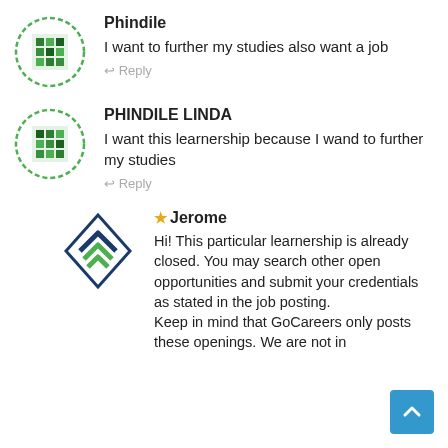[Figure (illustration): User avatar: circular dashed border with green pixel/mosaic pattern inside]
Phindile
I want to further my studies also want a job
↩ Reply
[Figure (illustration): User avatar: circular dashed border with green pixel/mosaic pattern inside]
PHINDILE LINDA
I want this learnership because I wand to further my studies
↩ Reply
[Figure (logo): GoCareers logo: blue and green diamond/chevron shapes]
★ Jerome
Hi! This particular learnership is already closed. You may search other open opportunities and submit your credentials as stated in the job posting.
Keep in mind that GoCareers only posts these openings. We are not in